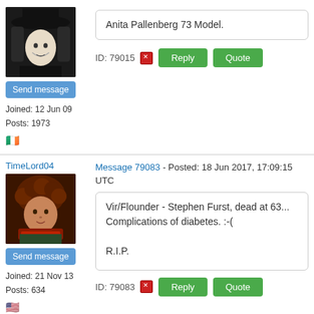[Figure (photo): Avatar image of a person wearing a Guy Fawkes mask and wide-brimmed hat]
Send message
Joined: 12 Jun 09
Posts: 1973
[Figure (photo): Irish flag emoji]
Anita Pallenberg 73 Model.
ID: 79015
Reply
Quote
TimeLord04
Message 79083 - Posted: 18 Jun 2017, 17:09:15 UTC
[Figure (photo): Avatar image of a person with curly hair and a scarf (Tom Baker as Doctor Who)]
Send message
Joined: 21 Nov 13
Posts: 634
[Figure (photo): US flag emoji]
Vir/Flounder - Stephen Furst, dead at 63... Complications of diabetes. :-(

R.I.P.
ID: 79083
Reply
Quote
Sirius B
Message 79378 - Posted: 28 Jun 2017, 16:02:05